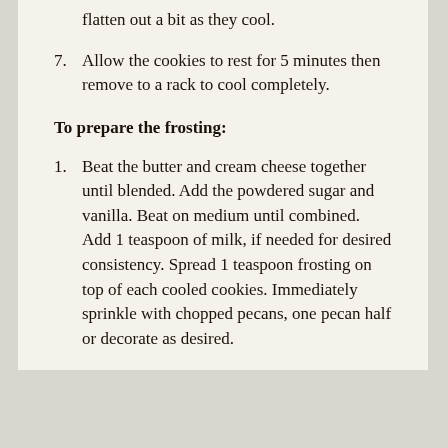flatten out a bit as they cool.
7. Allow the cookies to rest for 5 minutes then remove to a rack to cool completely.
To prepare the frosting:
1. Beat the butter and cream cheese together until blended. Add the powdered sugar and vanilla. Beat on medium until combined. Add 1 teaspoon of milk, if needed for desired consistency. Spread 1 teaspoon frosting on top of each cooled cookies. Immediately sprinkle with chopped pecans, one pecan half or decorate as desired.